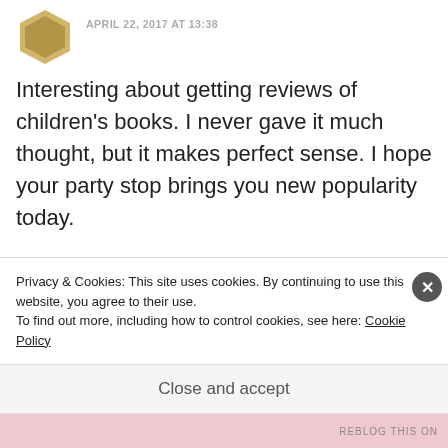APRIL 22, 2017 AT 13:38
Interesting about getting reviews of children’s books. I never gave it much thought, but it makes perfect sense. I hope your party stop brings you new popularity today.
Like
REPLY
marethabotha2013
Privacy & Cookies: This site uses cookies. By continuing to use this website, you agree to their use.
To find out more, including how to control cookies, see here: Cookie Policy
Close and accept